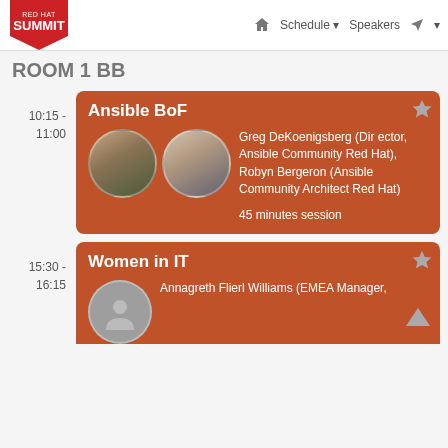RED HAT SUMMIT — Schedule Speakers
ROOM 1 BB
10:15 - 11:00
Ansible BoF — Greg DeKoenigsberg (Director, Ansible Community Red Hat), Robyn Bergeron (Ansible Community Architect Red Hat) — 45 minutes session
15:30 - 16:15
Women in IT — Annagreth Flierl Williams (EMEA Manager,